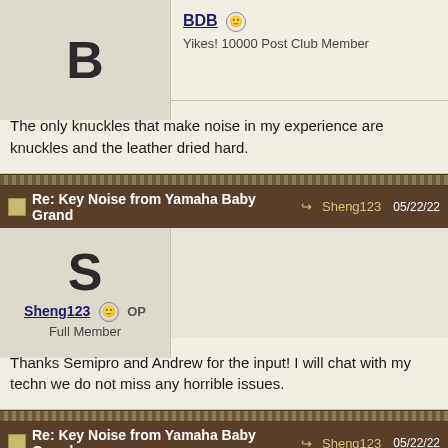BDB — Yikes! 10000 Post Club Member
The only knuckles that make noise in my experience are knuckles and the leather dried hard.
Re: Key Noise from Yamaha Baby Grand — Sheng123 05/22/22
Sheng123 OP — Full Member
Thanks Semipro and Andrew for the input! I will chat with my techn we do not miss any horrible issues.
Re: Key Noise from Yamaha Baby Grand — Sheng123 05/22/22
N W — Full Member
Sheng, have you actually taken off the fall yet? Start simple before sophisticated stuff.
Nick